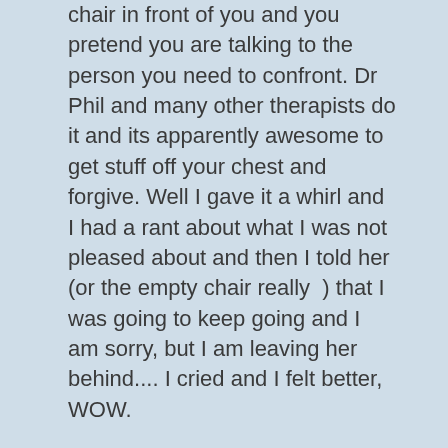chair in front of you and you pretend you are talking to the person you need to confront. Dr Phil and many other therapists do it and its apparently awesome to get stuff off your chest and forgive. Well I gave it a whirl and I had a rant about what I was not pleased about and then I told her (or the empty chair really  ) that I was going to keep going and I am sorry, but I am leaving her behind.... I cried and I felt better, WOW.
Tonight I saw her and I felt different around her. I realised as she raved about all the food she'd eaten overseas, all the wine she'd had and watched her drink 3/4 a bottle of wine and eat enough dinner for two people  , that we are no longer alike. I have evolved, wisened and moved on already. Hallelujah!
I will keep at it now and will come up with a little mantra along the lines of "if they don't support my plan, I need to leave them behind"... I have always had a problem with worry that others feel bad or uncomfortable. It was always my role in my family to keep the peace. So when someone gets awkward, self-conscious, jelous or feel inadequate when I succeed I need to remind myself that its their stuff, too bad for them really... I just need to keep going and if I have to leave them behind from a weight loss, fitness or